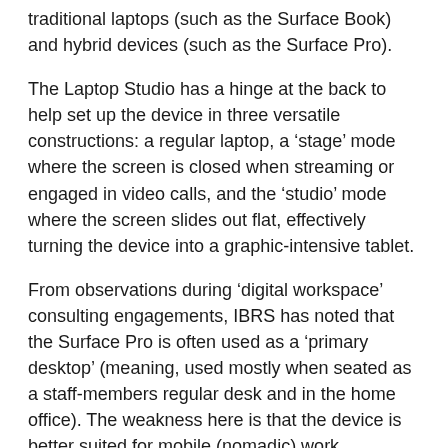traditional laptops (such as the Surface Book) and hybrid devices (such as the Surface Pro).
The Laptop Studio has a hinge at the back to help set up the device in three versatile constructions: a regular laptop, a ‘stage’ mode where the screen is closed when streaming or engaged in video calls, and the ‘studio’ mode where the screen slides out flat, effectively turning the device into a graphic-intensive tablet.
From observations during ‘digital workspace’ consulting engagements, IBRS has noted that the Surface Pro is often used as a ‘primary desktop’ (meaning, used mostly when seated as a staff-members regular desk and in the home office). The weakness here is that the device is better suited for mobile (nomadic) work.
The Laptop Studio is more geared towards a desk-top experience, while also providing for flexible user configuration. For example, it features more connectivity ports, but less focus on the battery